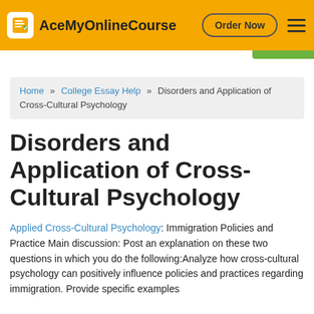AceMyOnlineCourse | Order Now
Home » College Essay Help » Disorders and Application of Cross-Cultural Psychology
Disorders and Application of Cross-Cultural Psychology
Applied Cross-Cultural Psychology: Immigration Policies and Practice Main discussion: Post an explanation on these two questions in which you do the following:Analyze how cross-cultural psychology can positively influence policies and practices regarding immigration. Provide specific examples